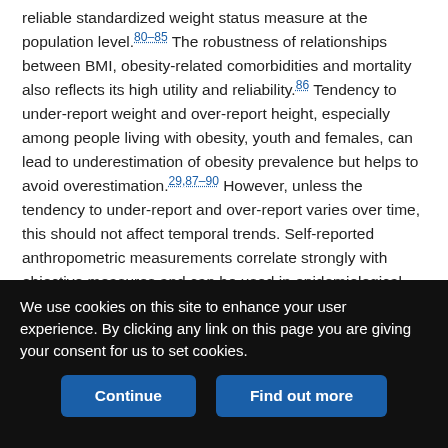reliable standardized weight status measure at the population level.[80–85] The robustness of relationships between BMI, obesity-related comorbidities and mortality also reflects its high utility and reliability.[86] Tendency to under-report weight and over-report height, especially among people living with obesity, youth and females, can lead to underestimation of obesity prevalence but helps to avoid overestimation.[29,87–90] However, unless the tendency to under-report and over-report varies over time, this should not affect temporal trends. Self-reported anthropometric measurements correlate strongly with objective measures and can be used in epidemiological studies.[91–93] To overcome potential divergence, we applied correction equations developed and used by Statistics
We use cookies on this site to enhance your user experience. By clicking any link on this page you are giving your consent for us to set cookies.